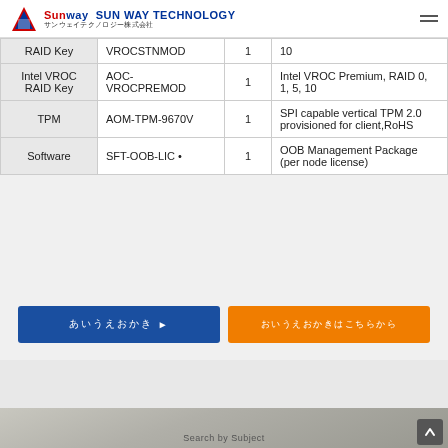SUN WAY TECHNOLOGY サンウェイテクノロジー株式会社
| Category | Part Number | Qty | Description |
| --- | --- | --- | --- |
| RAID Key | VROCSTNMOD | 1 | 10 |
| Intel VROC RAID Key | AOC-VROCPREMOD | 1 | Intel VROC Premium, RAID 0, 1, 5, 10 |
| TPM | AOM-TPM-9670V | 1 | SPI capable vertical TPM 2.0 provisioned for client,RoHS |
| Software | SFT-OOB-LIC • | 1 | OOB Management Package (per node license) |
ボタンラベル1
お問い合わせはこちらからどうぞ
Search by Subject